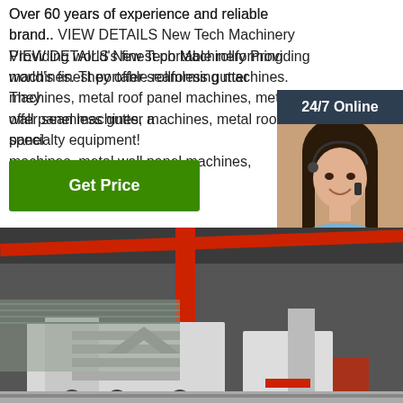Over 60 years of experience and reliable brand.. VIEW DETAILS New Tech Machinery Providing world's finest portable rollforming machines. They offer seamless gutter machines, metal roof panel machines, metal wall panel machines, and specialty equipment!
Get Price
24/7 Online
[Figure (photo): Customer service agent woman with headset, smiling]
Click here for free chat !
QUOTATION
[Figure (photo): Industrial machinery in a factory warehouse, showing large metal forming equipment with red structural components and control units]